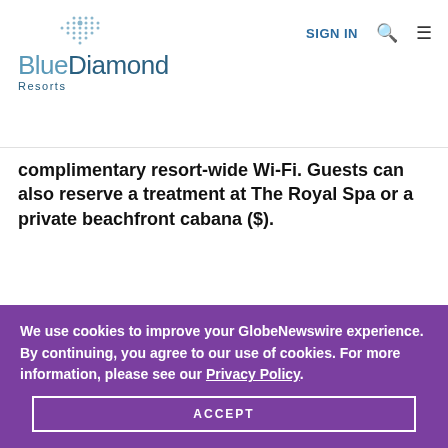Blue Diamond Resorts | SIGN IN | Search | Menu
complimentary resort-wide Wi-Fi. Guests can also reserve a treatment at The Royal Spa or a private beachfront cabana ($).
We use cookies to improve your GlobeNewswire experience. By continuing, you agree to our use of cookies. For more information, please see our Privacy Policy.
ACCEPT